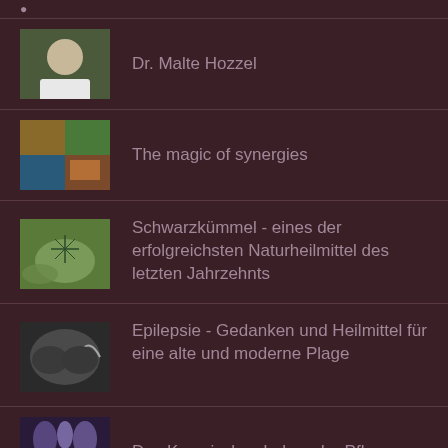(partial top item)
Dr. Malte Hozzel
The magic of synergies
Schwarzkümmel - eines der erfolgreichsten Naturheilmittel des letzten Jahrzehnts
Epilepsie - Gedanken und Heilmittel für eine alte und moderne Plage
Das Kosmisches Leben der Pflanzen